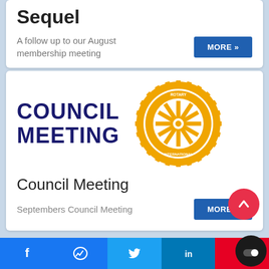Sequel
A follow up to our August membership meeting
[Figure (logo): Rotary International gear logo in orange/gold with text COUNCIL MEETING in dark navy blue]
Council Meeting
Septembers Council Meeting
[Figure (other): Social media share bar with Facebook, Messenger, Twitter, LinkedIn, Pinterest buttons and a toggle overlay button]